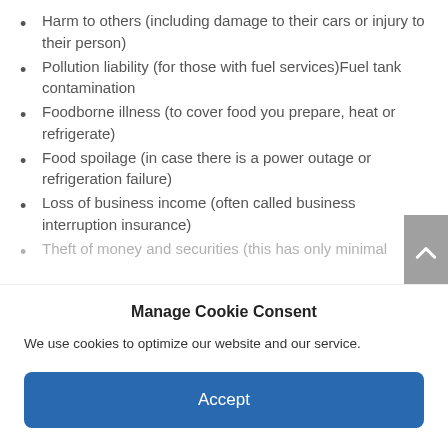Harm to others (including damage to their cars or injury to their person)
Pollution liability (for those with fuel services)Fuel tank contamination
Foodborne illness (to cover food you prepare, heat or refrigerate)
Food spoilage (in case there is a power outage or refrigeration failure)
Loss of business income (often called business interruption insurance)
Theft of money and securities (this has only minimal
Manage Cookie Consent
We use cookies to optimize our website and our service.
Accept